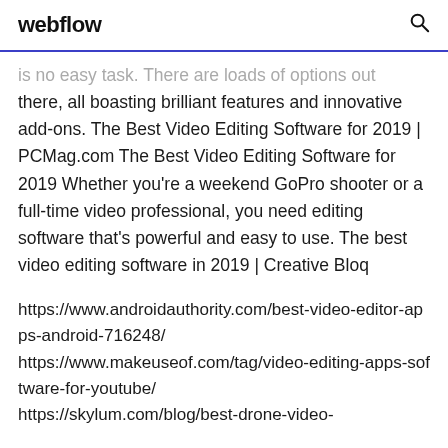webflow
is no easy task. There are loads of options out there, all boasting brilliant features and innovative add-ons. The Best Video Editing Software for 2019 | PCMag.com The Best Video Editing Software for 2019 Whether you're a weekend GoPro shooter or a full-time video professional, you need editing software that's powerful and easy to use. The best video editing software in 2019 | Creative Bloq
https://www.androidauthority.com/best-video-editor-apps-android-716248/ https://www.makeuseof.com/tag/video-editing-apps-software-for-youtube/ https://skylum.com/blog/best-drone-video-